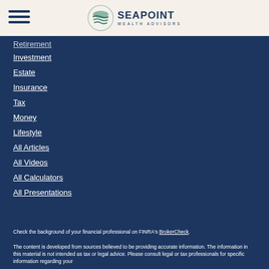[Figure (logo): Seapoint Wealth Advisors logo with circular wave icon and company name]
Retirement
Investment
Estate
Insurance
Tax
Money
Lifestyle
All Articles
All Videos
All Calculators
All Presentations
Check the background of your financial professional on FINRA's BrokerCheck.
The content is developed from sources believed to be providing accurate information. The information in this material is not intended as tax or legal advice. Please consult legal or tax professionals for specific information regarding your